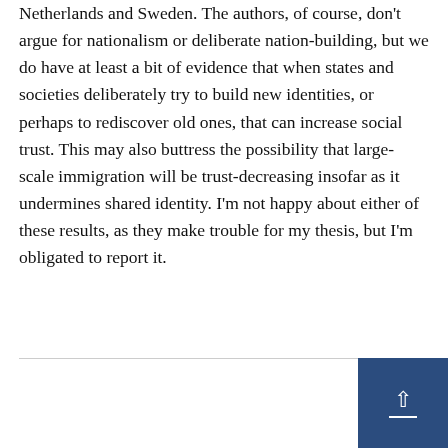Netherlands and Sweden. The authors, of course, don't argue for nationalism or deliberate nation-building, but we do have at least a bit of evidence that when states and societies deliberately try to build new identities, or perhaps to rediscover old ones, that can increase social trust. This may also buttress the possibility that large-scale immigration will be trust-decreasing insofar as it undermines shared identity. I'm not happy about either of these results, as they make trouble for my thesis, but I'm obligated to report it.